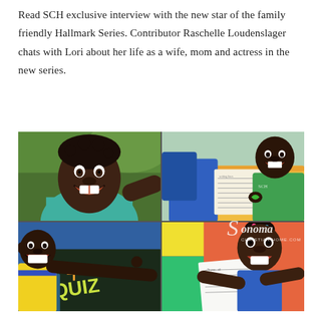Read SCH exclusive interview with the new star of the family friendly Hallmark Series. Contributor Raschelle Loudenslager chats with Lori about her life as a wife, mom and actress in the new series.
[Figure (photo): A collage of four photos showing smiling African children in a school or educational setting. Top-left: a young girl smiling broadly outdoors. Top-right: a boy in a green shirt sitting at a desk with a notebook. Bottom-left: a young boy in a yellow shirt at a chalkboard with 'QUIZ' written on it. Bottom-right: a girl holding a paper and smiling. A Sonoma Christian Home watermark is visible.]